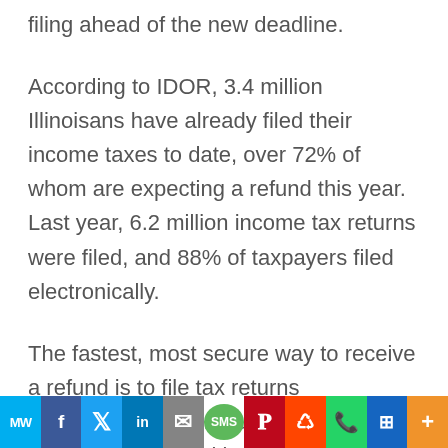filing ahead of the new deadline.
According to IDOR, 3.4 million Illinoisans have already filed their income taxes to date, over 72% of whom are expecting a refund this year. Last year, 6.2 million income tax returns were filed, and 88% of taxpayers filed electronically.
The fastest, most secure way to receive a refund is to file tax returns electronically and request a direct deposit into a checking or savings account. Taxpayers who have already filed a re...